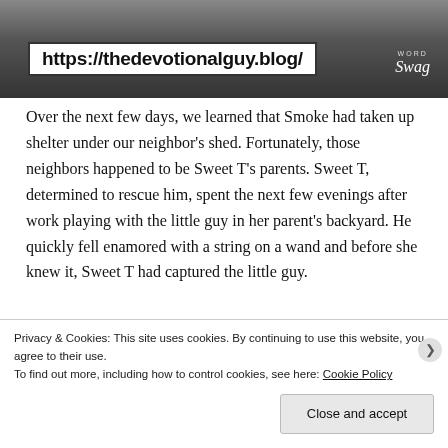[Figure (photo): Photo of a cat with dark background, overlaid with a white URL box reading 'https://thedevotionalguy.blog/' and a Word Swag logo in the upper right.]
Over the next few days, we learned that Smoke had taken up shelter under our neighbor's shed. Fortunately, those neighbors happened to be Sweet T's parents. Sweet T, determined to rescue him, spent the next few evenings after work playing with the little guy in her parent's backyard. He quickly fell enamored with a string on a wand and before she knew it, Sweet T had captured the little guy.
feral['ferəl, 'firəl] ADJECTIVE (especially of an animal) in a
Privacy & Cookies: This site uses cookies. By continuing to use this website, you agree to their use.
To find out more, including how to control cookies, see here: Cookie Policy
Close and accept